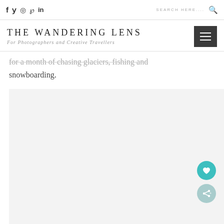f  y  ☉  𝓅  in   SEARCH HERE....
THE WANDERING LENS
For Photographers and Creative Travellers
for a month of chasing glaciers, fishing and snowboarding.
[Figure (photo): Large photo placeholder area with light grey background, partially visible]